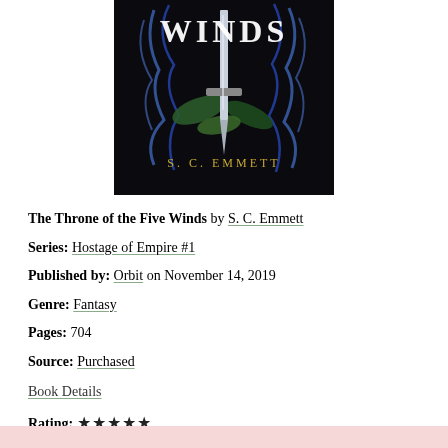[Figure (illustration): Book cover for 'The Throne of the Five Winds' by S. C. Emmett showing a dagger with blue flames/smoke and green leaves on a dark background, with gold author name text at bottom]
The Throne of the Five Winds by S. C. Emmett
Series: Hostage of Empire #1
Published by: Orbit on November 14, 2019
Genre: Fantasy
Pages: 704
Source: Purchased
Book Details
Rating: ★★★★★